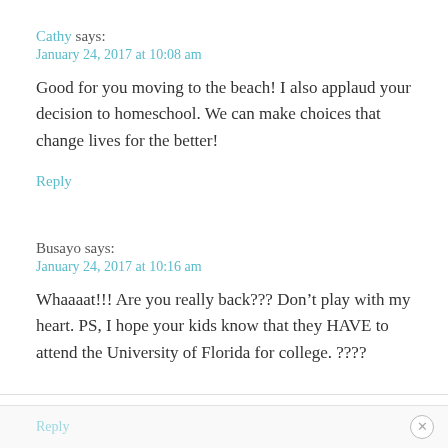Cathy says:
January 24, 2017 at 10:08 am
Good for you moving to the beach! I also applaud your decision to homeschool. We can make choices that change lives for the better!
Reply
Busayo says:
January 24, 2017 at 10:16 am
Whaaaat!!! Are you really back??? Don’t play with my heart. PS, I hope your kids know that they HAVE to attend the University of Florida for college. ????
Reply